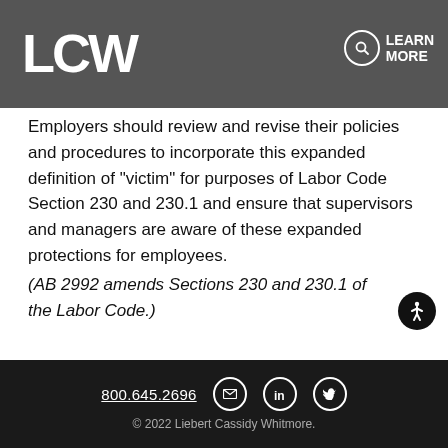have other paid leave available.
[Figure (logo): LCW logo in white on grey bar]
LEARN MORE
Employers should review and revise their policies and procedures to incorporate this expanded definition of “victim” for purposes of Labor Code Section 230 and 230.1 and ensure that supervisors and managers are aware of these expanded protections for employees.
(AB 2992 amends Sections 230 and 230.1 of the Labor Code.)
800.645.2696  © 2022 Liebert Cassidy Whitmore.